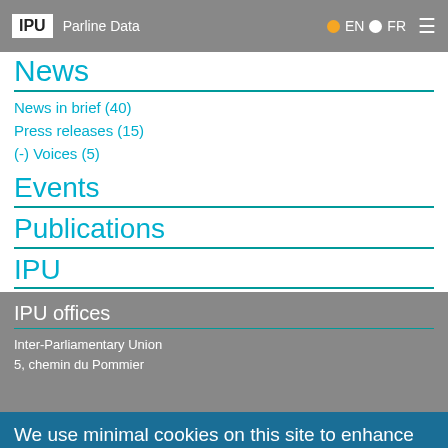IPU  Parline Data  EN  FR
News
News in brief (40)
Press releases (15)
(-) Voices (5)
Events
Publications
IPU
IPU President (9)
(-) Secretary General (5)
IPU offices
Inter-Parliamentary Union
5, chemin du Pommier
We use minimal cookies on this site to enhance your user experience and record anonymous usage with Google Analytics.